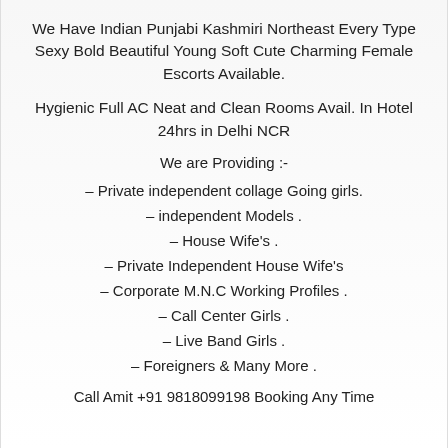We Have Indian Punjabi Kashmiri Northeast Every Type Sexy Bold Beautiful Young Soft Cute Charming Female Escorts Available.
Hygienic Full AC Neat and Clean Rooms Avail. In Hotel 24hrs in Delhi NCR
We are Providing :-
– Private independent collage Going girls.
– independent Models .
– House Wife's .
– Private Independent House Wife's
– Corporate M.N.C Working Profiles .
– Call Center Girls .
– Live Band Girls .
– Foreigners & Many More .
Call Amit +91 9818099198 Booking Any Time